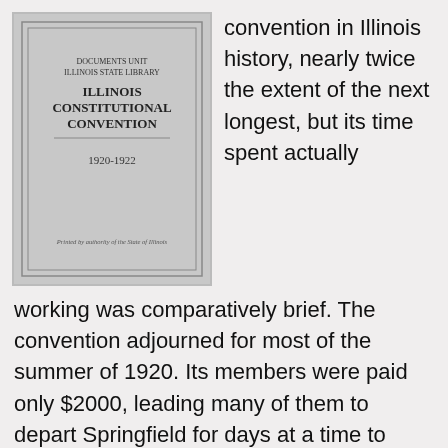[Figure (photo): Cover of a document titled 'Illinois Constitutional Convention 1920-1922', from the Documents Unit, Illinois State Library, printed by authority of the State of Illinois.]
convention in Illinois history, nearly twice the extent of the next longest, but its time spent actually working was comparatively brief. The convention adjourned for most of the summer of 1920. Its members were paid only $2000, leading many of them to depart Springfield for days at a time to tend to their businesses at home, thus denying the presence of a quorum. In 33 months, the convention was only in session for 140 days. The convention did not meet for a single day in all of 1921 while a committee meticulously massaged the wording of every sentence of the document until it was finalized.
Five delegates died. Four new delegates were chosen in